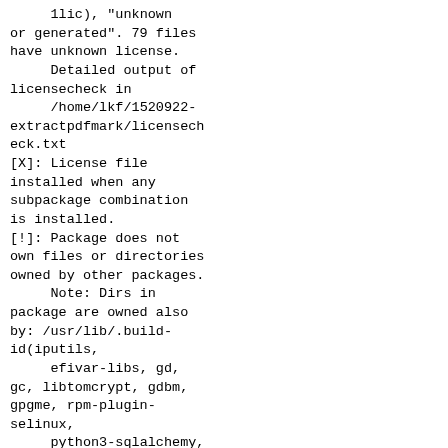1lic), "unknown
or generated". 79 files
have unknown license.
     Detailed output of
licensecheck in
     /home/lkf/1520922-
extractpdfmark/licensech
eck.txt
[X]: License file
installed when any
subpackage combination
is installed.
[!]: Package does not
own files or directories
owned by other packages.
     Note: Dirs in
package are owned also
by: /usr/lib/.build-
id(iputils,
     efivar-libs, gd,
gc, libtomcrypt, gdbm,
gpgme, rpm-plugin-
selinux,
     python3-sqlalchemy,
libmcpp, libnfsidmap,
libimagequant, lua-libs,
     trousers, bzip2-
libs, unzip, libdb-
utils, xorg-x11-font-
utils, gtk2,
     gtk3, OpenEXR-libs,